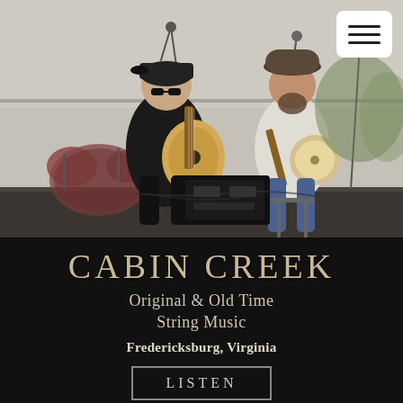[Figure (photo): Two musicians performing outdoors on a stage. On the left, a man wearing a black cap and black t-shirt plays an acoustic guitar while seated. On the right, a bearded man in a light shirt and jeans plays a banjo while seated. Drum kit visible in background. A stage monitor speaker sits in front of them. A white rounded-square menu button (hamburger icon) is visible in the top right corner.]
CABIN CREEK
Original & Old Time String Music
Fredericksburg, Virginia
LISTEN